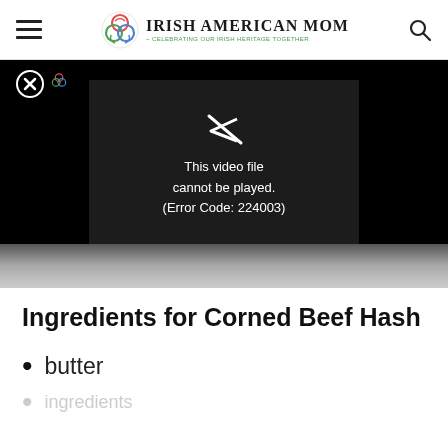Irish American Mom - Celebrating Our Irish Heritage Together
[Figure (screenshot): Video player showing error message: This video file cannot be played. (Error Code: 224003)]
Ingredients for Corned Beef Hash
butter
ingredients (partially visible)